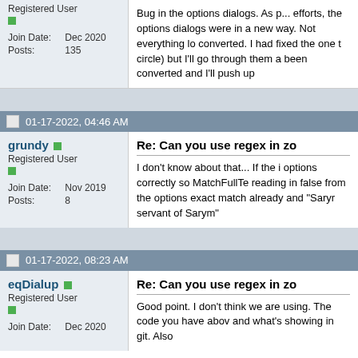Registered User
Join Date: Dec 2020
Posts: 135
Bug in the options dialogs. As part of refactoring efforts, the options dialogs were converted to work in a new way. Not everything looks to have been converted. I had fixed the one that you mentioned (circle) but I'll go through them all that haven't been converted and I'll push up...
01-17-2022, 04:46 AM
grundy
Registered User
Join Date: Nov 2019
Posts: 8
Re: Can you use regex in zo...
I don't know about that... If the issue is loading options correctly so MatchFullTe... reading in false from the options... exact match already and "Saryn... servant of Sarym"
01-17-2022, 08:23 AM
eqDialup
Registered User
Join Date: Dec 2020
Re: Can you use regex in zo...
Good point. I don't think we are... using. The code you have abov... and what's showing in git. Also...